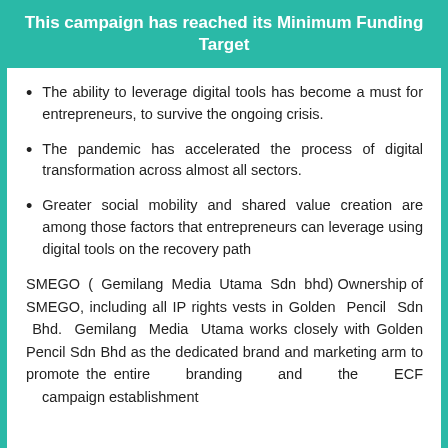This campaign has reached its Minimum Funding Target
The ability to leverage digital tools has become a must for entrepreneurs, to survive the ongoing crisis.
The pandemic has accelerated the process of digital transformation across almost all sectors.
Greater social mobility and shared value creation are among those factors that entrepreneurs can leverage using digital tools on the recovery path
SMEGO ( Gemilang Media Utama Sdn bhd) Ownership of SMEGO, including all IP rights vests in Golden Pencil Sdn Bhd. Gemilang Media Utama works closely with Golden Pencil Sdn Bhd as the dedicated brand and marketing arm to promote the entire branding and the ECF campaign establishment